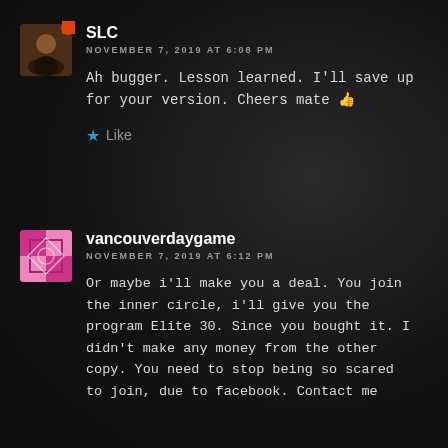[Figure (photo): Avatar image of user SLC with orange notification dot]
SLC
NOVEMBER 7, 2019 AT 6:08 PM
Ah bugger. Lesson learned. I'll save up for your version. Cheers mate 👍
★ Like
[Figure (photo): Avatar image of user vancouverdaygame with pink/magenta pattern]
vancouverdaygame
NOVEMBER 7, 2019 AT 6:12 PM
Or maybe i'll make you a deal. You join the inner circle, i'll give you the program Elite 30. Since you bought it. I didn't make any money from the other copy. You need to stop being so scared to join, due to facebook. Contact me